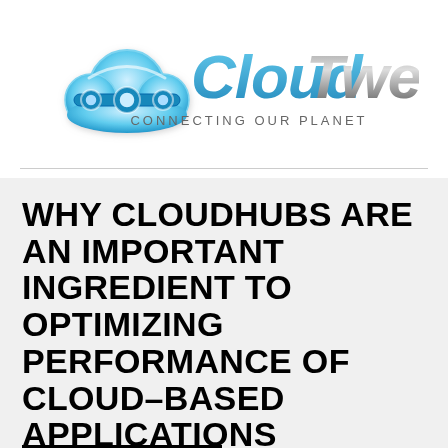[Figure (logo): CloudTweaks logo with blue cloud icon and gradient text reading 'CloudTweaks' with tagline 'CONNECTING OUR PLANET']
WHY CLOUDHUBS ARE AN IMPORTANT INGREDIENT TO OPTIMIZING PERFORMANCE OF CLOUD-BASED APPLICATIONS